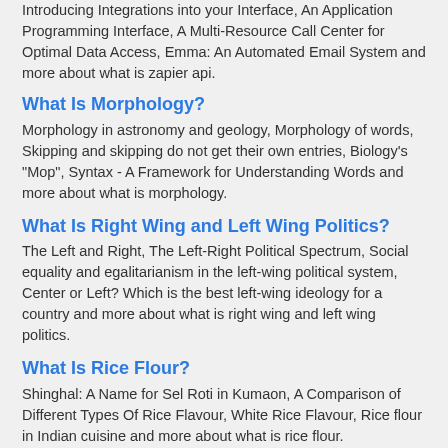Introducing Integrations into your Interface, An Application Programming Interface, A Multi-Resource Call Center for Optimal Data Access, Emma: An Automated Email System and more about what is zapier api.
What Is Morphology?
Morphology in astronomy and geology, Morphology of words, Skipping and skipping do not get their own entries, Biology's "Mop", Syntax - A Framework for Understanding Words and more about what is morphology.
What Is Right Wing and Left Wing Politics?
The Left and Right, The Left-Right Political Spectrum, Social equality and egalitarianism in the left-wing political system, Center or Left? Which is the best left-wing ideology for a country and more about what is right wing and left wing politics.
What Is Rice Flour?
Shinghal: A Name for Sel Roti in Kumaon, A Comparison of Different Types Of Rice Flavour, White Rice Flavour, Rice flour in Indian cuisine and more about what is rice flour.